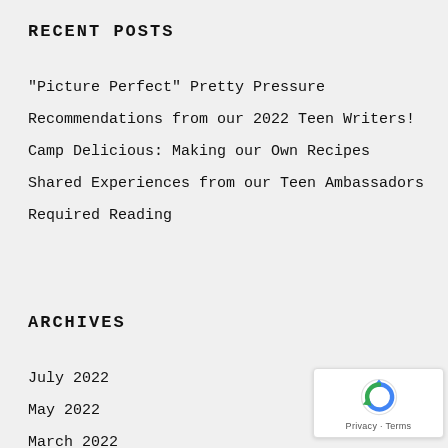RECENT POSTS
“Picture Perfect” Pretty Pressure
Recommendations from our 2022 Teen Writers!
Camp Delicious: Making our Own Recipes
Shared Experiences from our Teen Ambassadors
Required Reading
ARCHIVES
July 2022
May 2022
March 2022
January 2022
November 2021